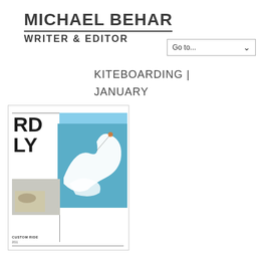MICHAEL BEHAR
WRITER & EDITOR
Go to...
KITEBOARDING | JANUARY

2011
[Figure (photo): Magazine cover showing a kiteboarding scene with large waves and letters 'RD LY' on the left side, and text 'CUSTOM RIDE' at the bottom]